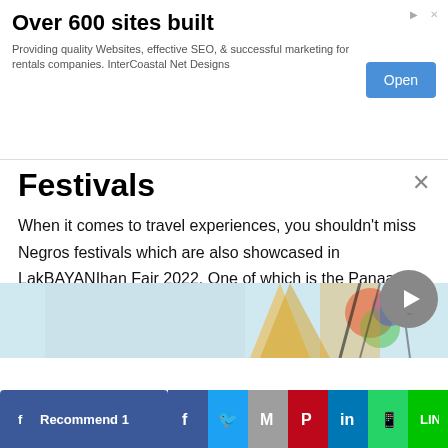[Figure (screenshot): Advertisement banner: 'Over 600 sites built' with Open button, text about InterCoastal Net Designs providing quality websites, SEO, and marketing for rentals companies.]
Festivals
When it comes to travel experiences, you shouldn't miss Negros festivals which are also showcased in LakBAYANIhan Fair 2022. One of which is the Panaad Festival, dubbed as the “festival of all festivals” which unites various cities in Negros to promote their culture and heritage every first week of April.
[Figure (photo): Partial image of colorful festival costumes or decorations from Negros festivals.]
[Figure (screenshot): Social media share bar with Facebook Recommend 1, Facebook, Twitter, Gmail, Pinterest, LinkedIn, WhatsApp, Line buttons.]